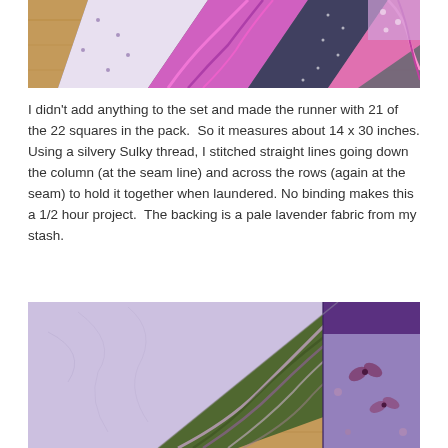[Figure (photo): Quilt runner made from purple and lavender patterned fabric squares arranged diagonally on a wooden dresser surface]
I didn't add anything to the set and made the runner with 21 of the 22 squares in the pack.  So it measures about 14 x 30 inches. Using a silvery Sulky thread, I stitched straight lines going down the column (at the seam line) and across the rows (again at the seam) to hold it together when laundered. No binding makes this a 1/2 hour project.  The backing is a pale lavender fabric from my stash.
[Figure (photo): Close-up of quilt runner showing pale lavender backing fabric on the left, a swirling green and purple marbled fabric in the center, and a purple fabric with small floral motifs on the right]